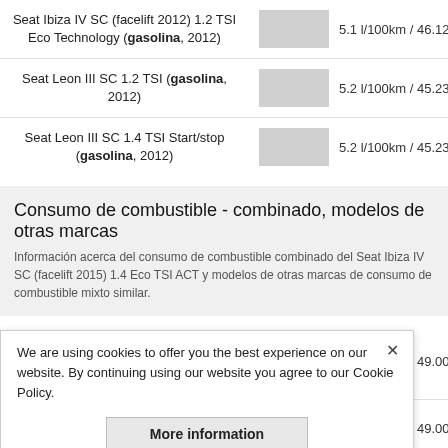Seat Ibiza IV SC (facelift 2012) 1.2 TSI Eco Technology (gasolina, 2012) — 5.1 l/100km / 46.12 ...
Seat Leon III SC 1.2 TSI (gasolina, 2012) — 5.2 l/100km / 45.23 ...
Seat Leon III SC 1.4 TSI Start/stop (gasolina, 2012) — 5.2 l/100km / 45.23 ...
Consumo de combustible - combinado, modelos de otras marcas
Información acerca del consumo de combustible combinado del Seat Ibiza IV SC (facelift 2015) 1.4 Eco TSI ACT y modelos de otras marcas de consumo de combustible mixto similar.
Volkswagen Beetle Convertible (A5, facelift 2016) 2.0 TDI BMT DSG (diesel, 2016) — 4.8 l/100km / 49.00 ...
BMW 1er Convertible (E88 LCI, facelift 2011) 118d (diesel, 2011) — 4.8 l/100km / 49.00 ...
4.8 l/100km / 49.00 ...
4.8 l/100km / 49.00 ...
4.8 l/100km / 49.00 ...
We are using cookies to offer you the best experience on our website. By continuing using our website you agree to our Cookie Policy.
More information